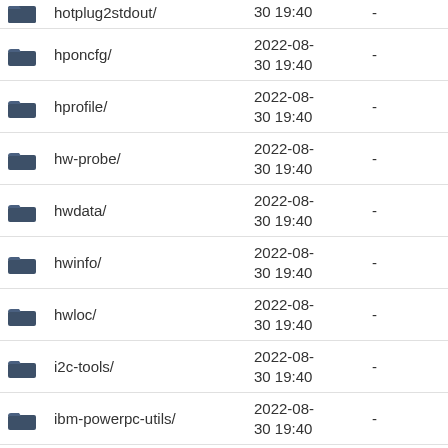hotplug2stdout/ 2022-08-30 19:40 -
hponcfg/ 2022-08-30 19:40 -
hprofile/ 2022-08-30 19:40 -
hw-probe/ 2022-08-30 19:40 -
hwdata/ 2022-08-30 19:40 -
hwinfo/ 2022-08-30 19:40 -
hwloc/ 2022-08-30 19:40 -
i2c-tools/ 2022-08-30 19:40 -
ibm-powerpc-utils/ 2022-08-30 19:40 -